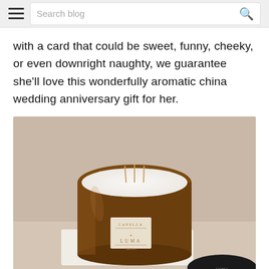Search blog
with a card that could be sweet, funny, cheeky, or even downright naughty, we guarantee she'll love this wonderfully aromatic china wedding anniversary gift for her.
[Figure (photo): A large amber glass candle jar with multiple wicks filled with white wax, labeled CAPELLA by LUMA, sitting on a white surface. A black circular lid is visible in the lower right corner.]